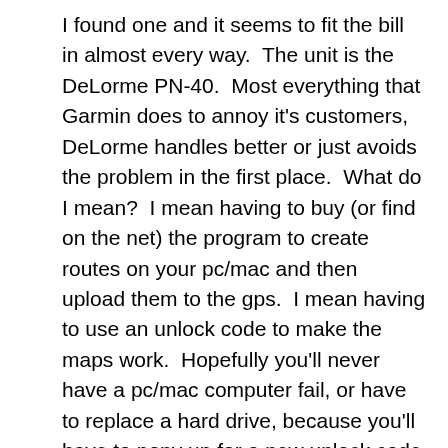I found one and it seems to fit the bill in almost every way.  The unit is the DeLorme PN-40.  Most everything that Garmin does to annoy it's customers, DeLorme handles better or just avoids the problem in the first place.  What do I mean?  I mean having to buy (or find on the net) the program to create routes on your pc/mac and then upload them to the gps.  I mean having to use an unlock code to make the maps work.  Hopefully you'll never have a pc/mac computer fail, or have to replace a hard drive, because you'll have to pony up for a new unlock code to use the maps you already bought.  You can install the maps on multiple laptops, but what if you have more than one gps?  This unlock code, serial number checking crap is a real annoyance to customers.  Do you hear me Garmin?  What if you lose the gps itself?  On the trail that is a distinct possibility.  So, that's not Garmin's fault.  But you can't use the maps on your laptop because they're unlocked only to one gps – the one you lost.  And